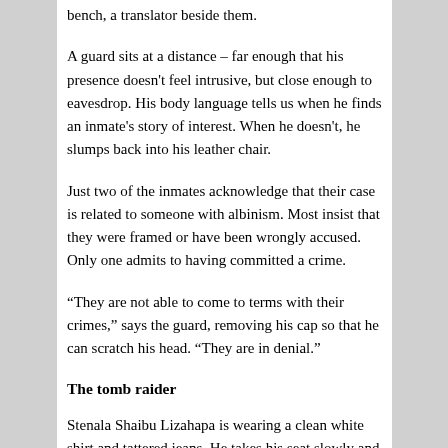bench, a translator beside them.
A guard sits at a distance – far enough that his presence doesn't feel intrusive, but close enough to eavesdrop. His body language tells us when he finds an inmate's story of interest. When he doesn't, he slumps back into his leather chair.
Just two of the inmates acknowledge that their case is related to someone with albinism. Most insist that they were framed or have been wrongly accused. Only one admits to having committed a crime.
“They are not able to come to terms with their crimes,” says the guard, removing his cap so that he can scratch his head. “They are in denial.”
The tomb raider
Stenala Shaibu Lizahapa is wearing a clean white shirt and tattered jeans. He takes his seat slowly and crosses his legs. A thin row of rosary beads pass through his